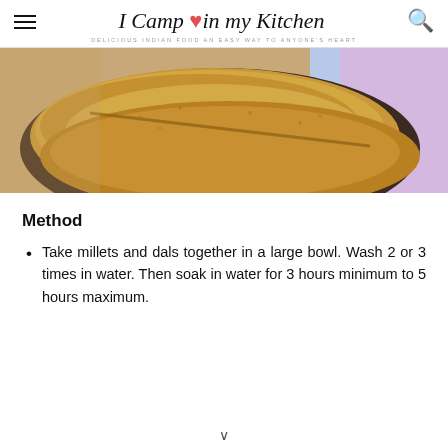I Camp in my Kitchen — DELICIOUS INDIAN FOOD AN EASY WAY TO ANYONE'S HEART
[Figure (photo): Close-up photo of golden-brown millet dosa/crepes on a dark plate with colorful background]
Method
Take millets and dals together in a large bowl. Wash 2 or 3 times in water. Then soak in water for 3 hours minimum to 5 hours maximum.